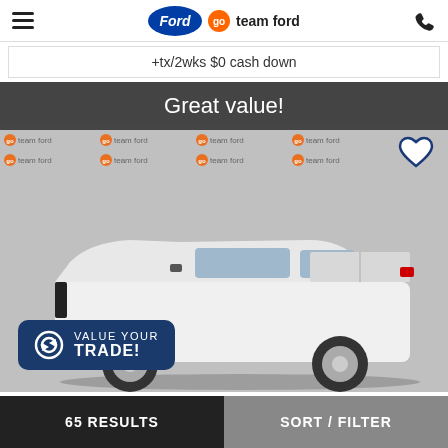Ford | go team ford
+tx/2wks $0 cash down
[Figure (photo): White Ford F-150 pickup truck displayed in front of a 'go team ford' branded backdrop. A 'Great value!' banner appears at the top of the image. A heart/favorite icon is in the top right. A 'VALUE YOUR TRADE!' button with a refresh icon is overlaid at the bottom left.]
65 RESULTS
SORT / FILTER